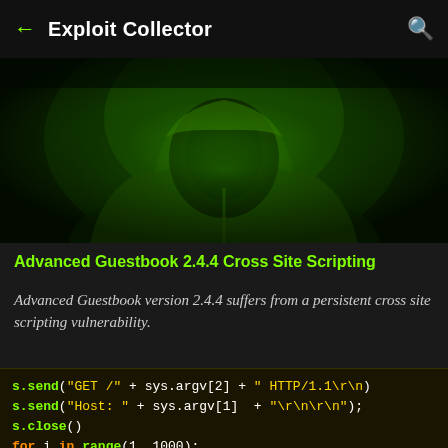← Exploit Collector 🔍
[Figure (photo): Green-tinted hooded hacker figure against dark background, dramatic cyber-security themed image]
Advanced Guestbook 2.4.4 Cross Site Scripting
Advanced Guestbook version 2.4.4 suffers from a persistent cross site scripting vulnerability.
[Figure (screenshot): Dark terminal/code screenshot showing Python exploit code: s.send("GET /" + sys.argv[2] + " HTTP/1.1\r\n"), s.send("Host: " + sys.argv[1] + "\r\n\r\n");, s.close(), for i in range(1, 1000):, attack(), import socket, sys, os]